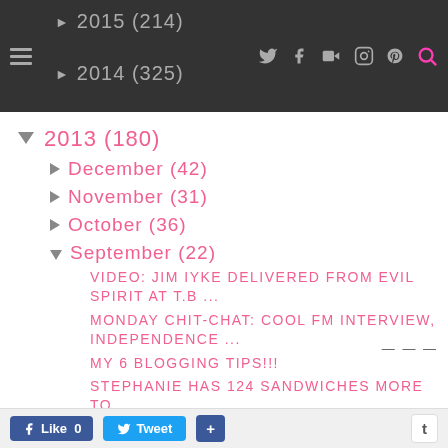2015 (214)  2014 (325)
▼ 2013 (180)
► December (42)
► November (31)
► October (36)
▼ September (22)
VIDEO: JIM IYKE DELIVERED FROM EVIL SPIRIT AT T.B ...
MONDAY CHIT-CHAT: COOL FM INTERVIEW, INDEPENDENCE ...
MY 6 BLOGGING TIPS!!!
STEPHANIE HAS 124 SANDWICHES MORE TO MAKE BEFORE H...
Like 0  Tweet  +  t